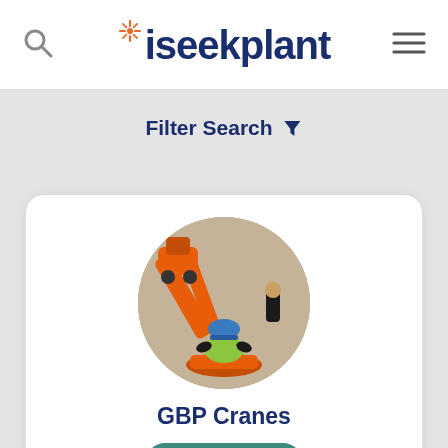iseekplant
Filter Search
[Figure (photo): Circular aerial-view photo of a construction worker in a yellow high-vis vest and blue hard hat operating an orange boom lift/elevated work platform, with another worker in black visible in the background on a concrete surface.]
GBP Cranes
Verified